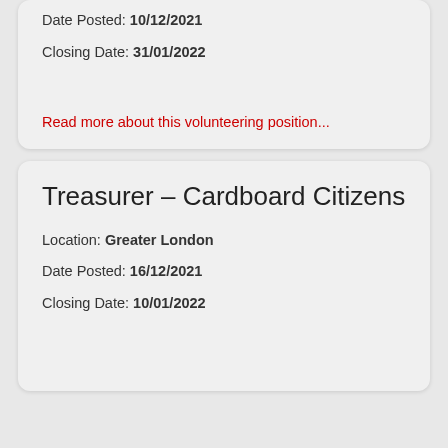Date Posted: 10/12/2021
Closing Date: 31/01/2022
Read more about this volunteering position...
Treasurer – Cardboard Citizens
Location: Greater London
Date Posted: 16/12/2021
Closing Date: 10/01/2022